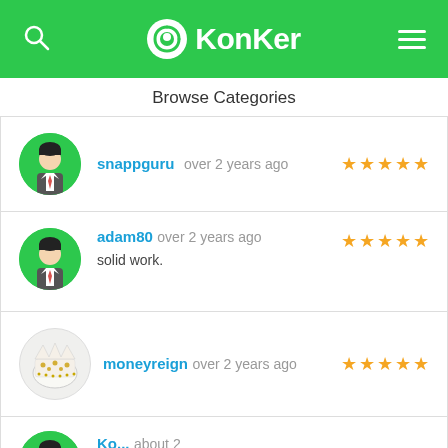KonKer
Browse Categories
snappguru over 2 years ago — 5 stars
adam80 over 2 years ago — solid work. — 5 stars
moneyreign over 2 years ago — 5 stars
partial row (4th reviewer)